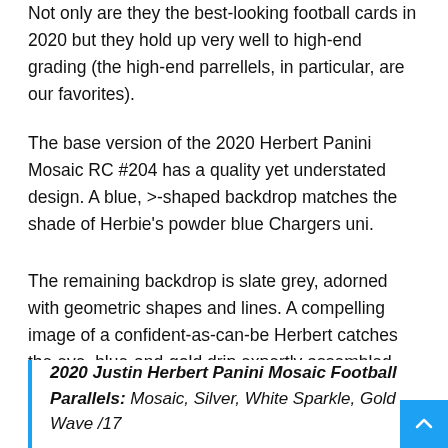Not only are they the best-looking football cards in 2020 but they hold up very well to high-end grading (the high-end parrellels, in particular, are our favorites).
The base version of the 2020 Herbert Panini Mosaic RC #204 has a quality yet understated design. A blue, >-shaped backdrop matches the shade of Herbie's powder blue Chargers uni.
The remaining backdrop is slate grey, adorned with geometric shapes and lines. A compelling image of a confident-as-can-be Herbert catches the eye, blue-and-gold drip expertly assembled.
2020 Justin Herbert Panini Mosaic Football Parallels: Mosaic, Silver, White Sparkle, Gold Wave /17
Rookie Autographs Mosaic Parallels: Gold /10, Black